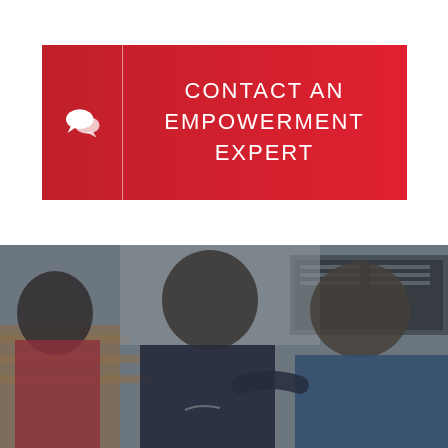[Figure (infographic): Red gradient banner button with white chat bubble icon on left side separated by a vertical line, and text 'CONTACT AN EMPOWERMENT EXPERT' in white on right side]
[Figure (photo): Photo of three teenage male students sitting together in what appears to be a school gymnasium or classroom, looking downward. One student wears a dark Nike hoodie, another wears a blue hoodie. Wooden bleachers and a whiteboard/scoreboard visible in background. Image has a dark blue-grey overlay tint.]